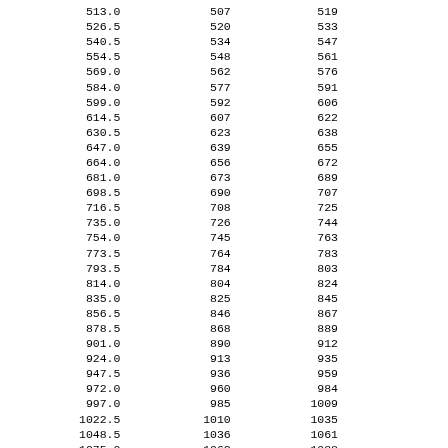| 513.0 | 507 | 519 |
| 526.5 | 520 | 533 |
| 540.5 | 534 | 547 |
| 554.5 | 548 | 561 |
| 569.0 | 562 | 576 |
| 584.0 | 577 | 591 |
| 599.0 | 592 | 606 |
| 614.5 | 607 | 622 |
| 630.5 | 623 | 638 |
| 647.0 | 639 | 655 |
| 664.0 | 656 | 672 |
| 681.0 | 673 | 689 |
| 698.5 | 690 | 707 |
| 716.5 | 708 | 725 |
| 735.0 | 726 | 744 |
| 754.0 | 745 | 763 |
| 773.5 | 764 | 783 |
| 793.5 | 784 | 803 |
| 814.0 | 804 | 824 |
| 835.0 | 825 | 845 |
| 856.5 | 846 | 867 |
| 878.5 | 868 | 889 |
| 901.0 | 890 | 912 |
| 924.0 | 913 | 935 |
| 947.5 | 936 | 959 |
| 972.0 | 960 | 984 |
| 997.0 | 985 | 1009 |
| 1022.5 | 1010 | 1035 |
| 1048.5 | 1036 | 1061 |
| 1075.0 | 1062 | 1088 |
| 1102.5 | 1089 | 1116 |
| 1130.5 | 1117 | 1144 |
| 1159.0 | 1145 | 1173 |
| 1188.5 | 1174 | 1203 |
| 1219.0 | 1204 | 1234 |
| 1250.0 | 1235 | 1265 |
| 1281.5 | 1266 | 1297 |
| 1314.0 | 1298 | 1330 |